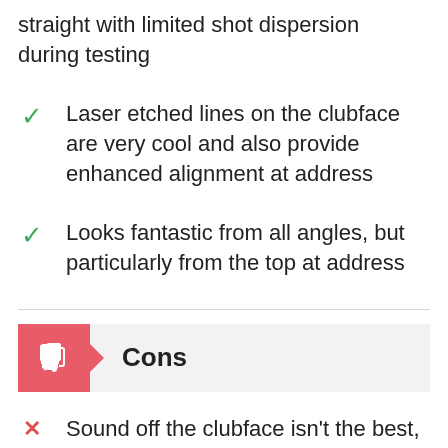straight with limited shot dispersion during testing
Laser etched lines on the clubface are very cool and also provide enhanced alignment at address
Looks fantastic from all angles, but particularly from the top at address
Cons
Sound off the clubface isn't the best,